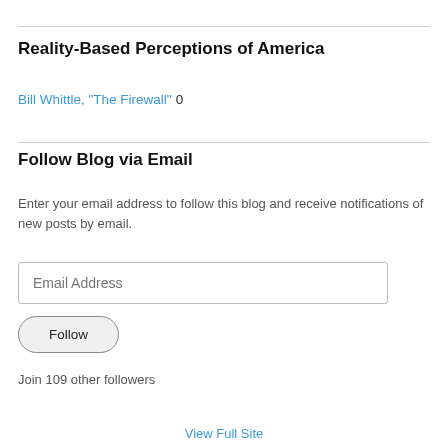Reality-Based Perceptions of America
Bill Whittle, "The Firewall" 0
Follow Blog via Email
Enter your email address to follow this blog and receive notifications of new posts by email.
Email Address
Follow
Join 109 other followers
View Full Site